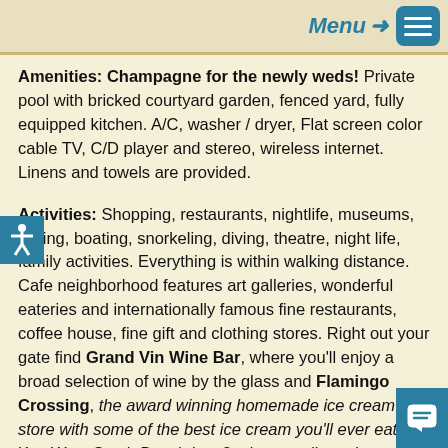Menu →
Amenities: Champagne for the newly weds! Private pool with bricked courtyard garden, fenced yard, fully equipped kitchen. A/C, washer / dryer, Flat screen color cable TV, C/D player and stereo, wireless internet. Linens and towels are provided.
Activities: Shopping, restaurants, nightlife, museums, sailing, boating, snorkeling, diving, theatre, night life, family activities. Everything is within walking distance. Cafe neighborhood features art galleries, wonderful eateries and internationally famous fine restaurants, coffee house, fine gift and clothing stores. Right out your gate find Grand Vin Wine Bar, where you'll enjoy a broad selection of wine by the glass and Flamingo Crossing, the award winning homemade ice cream store with some of the best ice cream you'll ever eat. Key West South Beach is a 3 minute walk up the street at most Upper end of Duval St.
Area: Upper Duval or 'Uptown Key West' has evolved into the "elegant end of Duval" and offers an exceptional variety of restaurants, beautiful boutiques, and art galleries. Walk to South Beach in 3 minutes and the Southernmost Point of the United States is just down the street and around the corner. Walk to the Mallory Square Sunset Celebration in 15 to 20